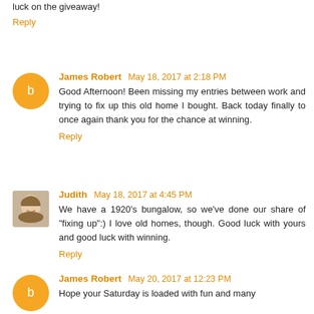luck on the giveaway!
Reply
James Robert May 18, 2017 at 2:18 PM
Good Afternoon! Been missing my entries between work and trying to fix up this old home I bought. Back today finally to once again thank you for the chance at winning.
Reply
Judith May 18, 2017 at 4:45 PM
We have a 1920's bungalow, so we've done our share of "fixing up":) I love old homes, though. Good luck with yours and good luck with winning.
Reply
James Robert May 20, 2017 at 12:23 PM
Hope your Saturday is loaded with fun and many